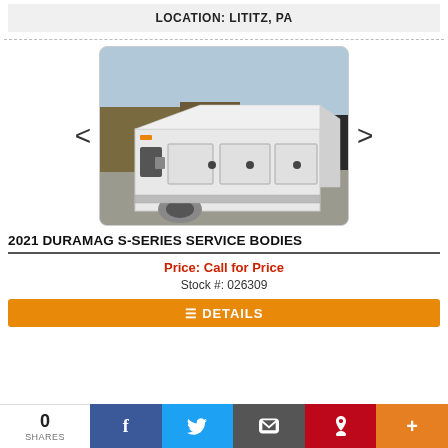LOCATION: LITITZ, PA
[Figure (photo): White Duramag S-Series service body truck bed sitting in a parking lot, viewed from a three-quarter angle. Multiple other vehicles visible in the background.]
2021 DURAMAG S-SERIES SERVICE BODIES
Price: Call for Price
Stock #: 026309
DETAILS